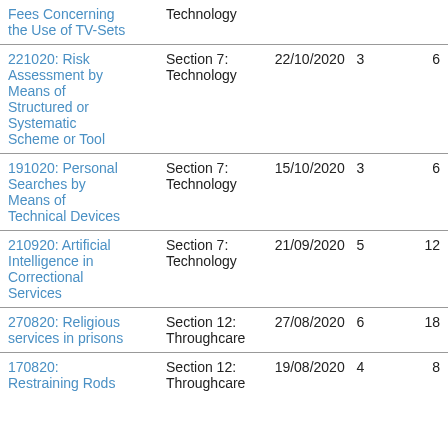| Title | Section | Date | Col4 | Col5 |
| --- | --- | --- | --- | --- |
| Fees Concerning the Use of TV-Sets | Section 7: Technology |  |  |  |
| 221020: Risk Assessment by Means of Structured or Systematic Scheme or Tool | Section 7: Technology | 22/10/2020 | 3 | 6 |
| 191020: Personal Searches by Means of Technical Devices | Section 7: Technology | 15/10/2020 | 3 | 6 |
| 210920: Artificial Intelligence in Correctional Services | Section 7: Technology | 21/09/2020 | 5 | 12 |
| 270820: Religious services in prisons | Section 12: Throughcare | 27/08/2020 | 6 | 18 |
| 170820: Restraining Rods | Section 12: Throughcare | 19/08/2020 | 4 | 8 |